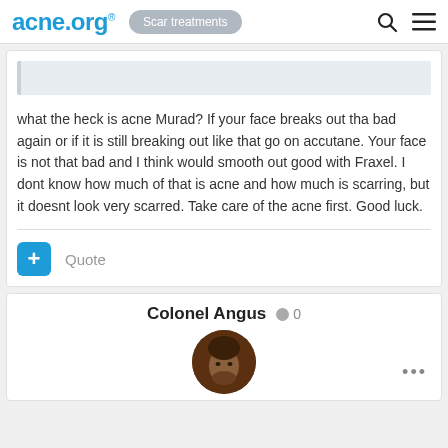acne.org® — Scar treatments
what the heck is acne Murad? If your face breaks out tha bad again or if it is still breaking out like that go on accutane. Your face is not that bad and I think would smooth out good with Fraxel. I dont know how much of that is acne and how much is scarring, but it doesnt look very scarred. Take care of the acne first. Good luck.
Quote
Colonel Angus  0